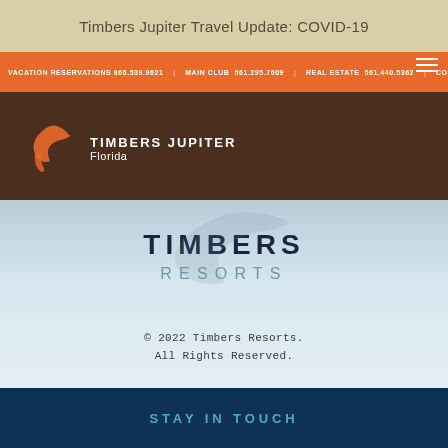Timbers Jupiter Travel Update: COVID-19
VACATION RESERVATIONS 866.539.9621  MAIN CLUB  561.295.7609  REAL ESTATE  561.440.5362  CONTACT US
[Figure (logo): Timbers Jupiter Florida logo with orange bird/wave mark and white text on dark brown background]
[Figure (logo): Timbers Resorts large text logo on sky/cloud background]
© 2022 Timbers Resorts.
All Rights Reserved.
STAY IN TOUCH